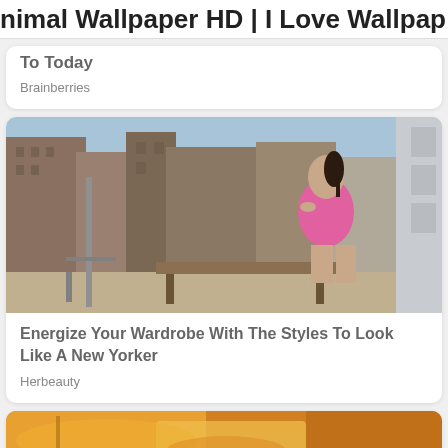nimal Wallpaper HD | I Love Wallpap
To Today
Brainberries
[Figure (photo): Woman in pink outfit sitting on rooftop bench with city buildings in background, holding a drink]
Energize Your Wardrobe With The Styles To Look Like A New Yorker
Herbeauty
[Figure (photo): Close-up of orange/yellow liquid or food item, partially visible at bottom of page]